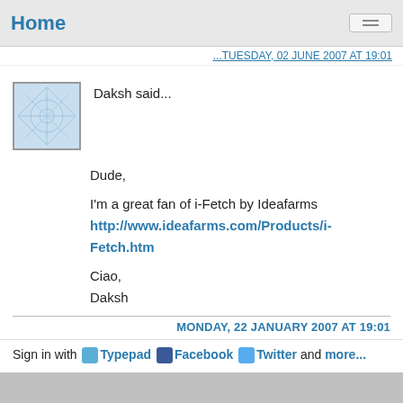Home
Daksh said...
Dude,

I'm a great fan of i-Fetch by Ideafarms
http://www.ideafarms.com/Products/i-Fetch.htm

Ciao,
Daksh
MONDAY, 22 JANUARY 2007 AT 19:01
Sign in with Typepad Facebook Twitter and more...